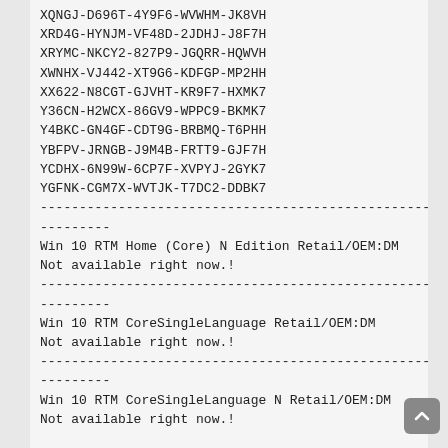XQNGJ-D696T-4Y9F6-WVWHM-JK8VH
XRD4G-HYNJM-VF48D-2JDHJ-J8F7H
XRYMC-NKCY2-827P9-JGQRR-HQWVH
XWNHX-VJ442-XT9G6-KDFGP-MP2HH
XX622-N8CGT-GJVHT-KR9F7-HXMK7
Y36CN-H2WCX-86GV9-WPPC9-BKMK7
Y4BKC-GN4GF-CDT9G-BRBMQ-T6PHH
YBFPV-JRNGB-J9M4B-FRTT9-GJF7H
YCDHX-6N99W-6CP7F-XVPYJ-2GYK7
YGFNK-CGM7X-WVTJK-T7DC2-DDBK7
----------------------------------------------------
---------
Win 10 RTM Home (Core) N Edition Retail/OEM:DM
Not available right now.!
----------------------------------------------------
---------
Win 10 RTM CoreSingleLanguage Retail/OEM:DM
Not available right now.!
----------------------------------------------------
---------
Win 10 RTM CoreSingleLanguage N Retail/OEM:DM
Not available right now.!